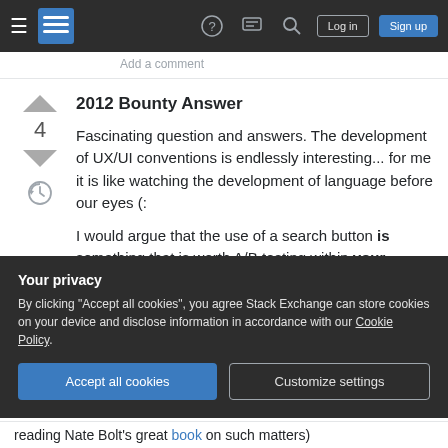Stack Exchange navigation bar with hamburger menu, logo, help, chat, search icons, Log in and Sign up buttons
Add a comment
2012 Bounty Answer
Fascinating question and answers. The development of UX/UI conventions is endlessly interesting... for me it is like watching the development of language before our eyes (:
I would argue that the use of a search button is something that is worth A/B testing within your particular context. Unlike some above I do think
Your privacy
By clicking "Accept all cookies", you agree Stack Exchange can store cookies on your device and disclose information in accordance with our Cookie Policy.
Accept all cookies    Customize settings
reading Nate Bolt's great book on such matters)